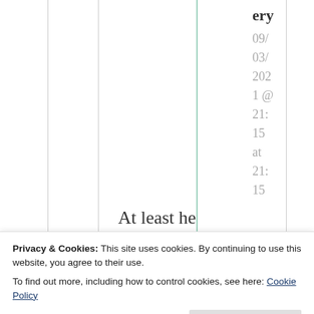ery
09/
03/
202
1 @
21:
15
at
21:
15
At least he
Privacy & Cookies: This site uses cookies. By continuing to use this website, you agree to their use.
To find out more, including how to control cookies, see here: Cookie Policy
Close and accept
there. It's